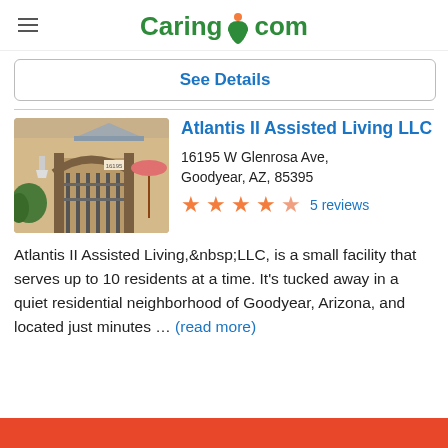Caring.com
See Details
Atlantis II Assisted Living LLC
16195 W Glenrosa Ave, Goodyear, AZ, 85395
5 reviews
[Figure (photo): Exterior photo of Atlantis II Assisted Living LLC showing an iron gate entrance with brick walls and outdoor seating area.]
Atlantis II Assisted Living, LLC, is a small facility that serves up to 10 residents at a time. It’s tucked away in a quiet residential neighborhood of Goodyear, Arizona, and located just minutes ... (read more)